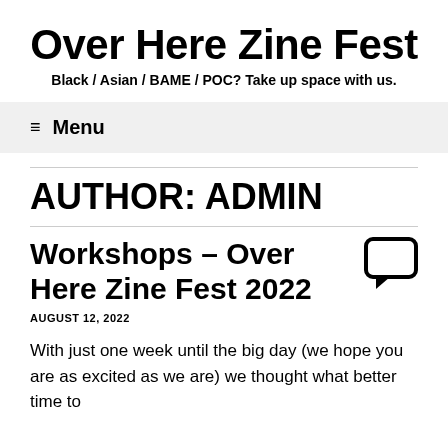Over Here Zine Fest
Black / Asian / BAME / POC? Take up space with us.
≡ Menu
AUTHOR: ADMIN
Workshops – Over Here Zine Fest 2022
AUGUST 12, 2022
With just one week until the big day (we hope you are as excited as we are) we thought what better time to